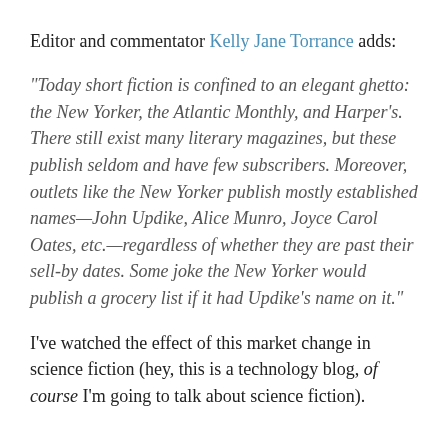Editor and commentator Kelly Jane Torrance adds:
"Today short fiction is confined to an elegant ghetto: the New Yorker, the Atlantic Monthly, and Harper's. There still exist many literary magazines, but these publish seldom and have few subscribers. Moreover, outlets like the New Yorker publish mostly established names—John Updike, Alice Munro, Joyce Carol Oates, etc.—regardless of whether they are past their sell-by dates. Some joke the New Yorker would publish a grocery list if it had Updike's name on it."
I've watched the effect of this market change in science fiction (hey, this is a technology blog, of course I'm going to talk about science fiction).